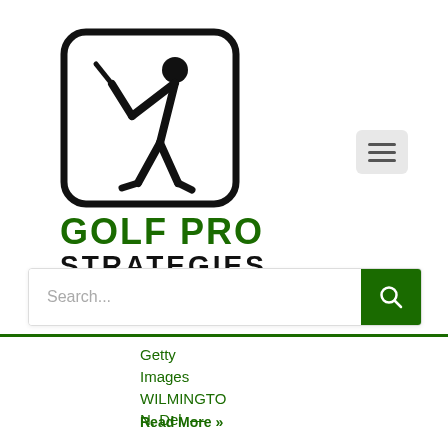[Figure (logo): Golf Pro Strategies logo: rounded square with stick figure golfer swinging, bold text GOLF PRO STRATEGIES below]
[Figure (other): Hamburger menu button (three horizontal lines) in light grey rounded rectangle, top right]
[Figure (other): Search bar with placeholder text 'Search...' and dark green search button with magnifying glass icon]
Getty Images WILMINGTON, Del. —
Read More »